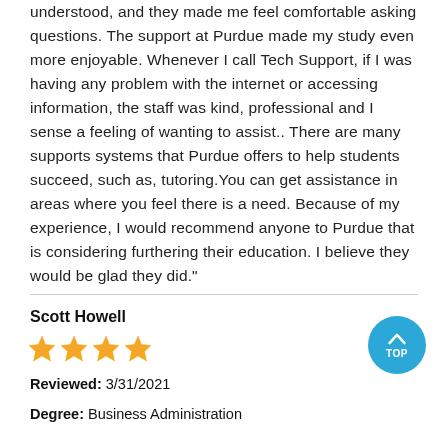understood, and they made me feel comfortable asking questions. The support at Purdue made my study even more enjoyable. Whenever I call Tech Support, if I was having any problem with the internet or accessing information, the staff was kind, professional and I sense a feeling of wanting to assist.. There are many supports systems that Purdue offers to help students succeed, such as, tutoring.You can get assistance in areas where you feel there is a need. Because of my experience, I would recommend anyone to Purdue that is considering furthering their education. I believe they would be glad they did."
Scott Howell
Reviewed: 3/31/2021
Degree: Business Administration